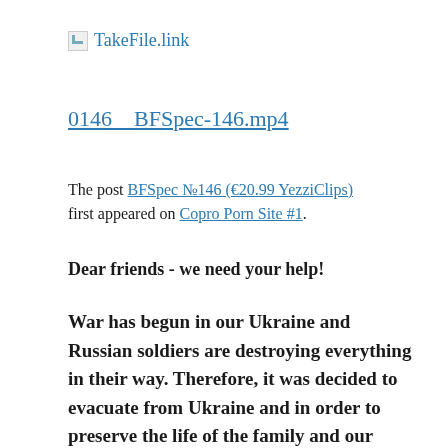[Figure (logo): Broken image icon followed by TakeFile.link logo text]
0146__BFSpec-146.mp4
The post BFSpec №146 (€20.99 YezziClips) first appeared on Copro Porn Site #1.
Dear friends - we need your help!
War has begun in our Ukraine and Russian soldiers are destroying everything in their way. Therefore, it was decided to evacuate from Ukraine and in order to preserve the life of the family and our favorite sites and forums and transfer them to new hosting. Anyone